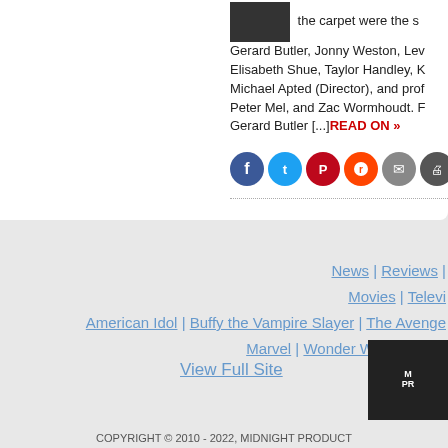the carpet were the s Gerard Butler, Jonny Weston, Lev Elisabeth Shue, Taylor Handley, K Michael Apted (Director), and prof Peter Mel, and Zac Wormhoudt. F Gerard Butler [...] READ ON »
[Figure (other): Social media share icons: Facebook, Twitter, Pinterest, Reddit, Email, Print, Google+, Tumblr]
News | Reviews | Movies | Televis American Idol | Buffy the Vampire Slayer | The Avenge Marvel | Wonder Woman | Bat
View Full Site
[Figure (logo): Midnight Productions logo - dark background with stylized text]
COPYRIGHT © 2010 - 2022, MIDNIGHT PRODUCT